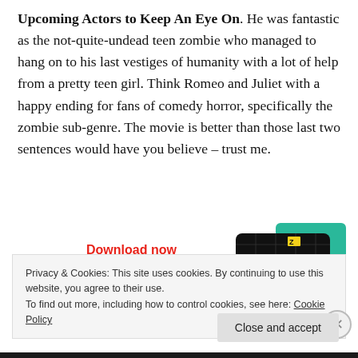Upcoming Actors to Keep An Eye On. He was fantastic as the not-quite-undead teen zombie who managed to hang on to his last vestiges of humanity with a lot of help from a pretty teen girl. Think Romeo and Juliet with a happy ending for fans of comedy horror, specifically the zombie sub-genre. The movie is better than those last two sentences would have you believe – trust me.
[Figure (other): Download now button text in red with a '99% Invisible' podcast app card image showing a black card with yellow grid lines and the text '99% INVISIBLE' beside colorful cards (green, blue, red)]
Privacy & Cookies: This site uses cookies. By continuing to use this website, you agree to their use.
To find out more, including how to control cookies, see here: Cookie Policy
Close and accept